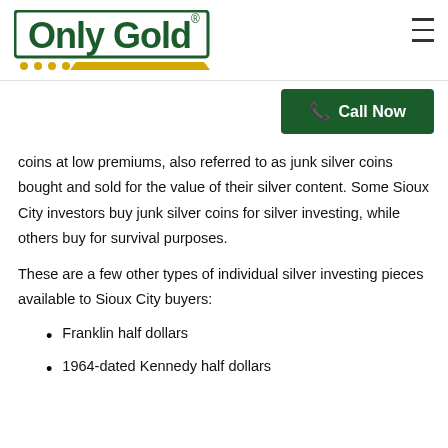[Figure (logo): Only Gold company logo with green text and gold/yellow accent bar and dots]
coins at low premiums, also referred to as junk silver coins bought and sold for the value of their silver content. Some Sioux City investors buy junk silver coins for silver investing, while others buy for survival purposes.
These are a few other types of individual silver investing pieces available to Sioux City buyers:
Franklin half dollars
1964-dated Kennedy half dollars